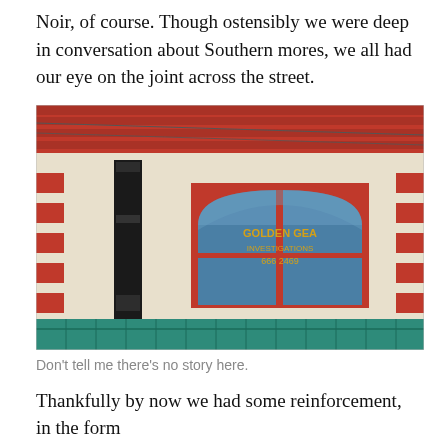Noir, of course. Though ostensibly we were deep in conversation about Southern mores, we all had our eye on the joint across the street.
[Figure (photo): Exterior of a building with red-trimmed arched window, cream stucco walls with red brick accents, teal tile trim at bottom, a tall black speaker or column device on the left, and a sign reading 'GOLDEN GEA INVESTIGATIONS' with a phone number in the arched window.]
Don't tell me there's no story here.
Thankfully by now we had some reinforcement, in the form